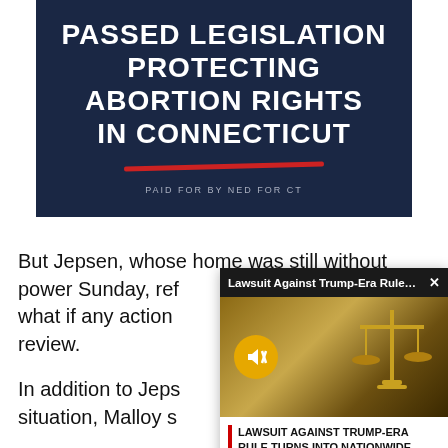[Figure (infographic): Political ad banner with dark navy background, white bold text reading 'PASSED LEGISLATION PROTECTING ABORTION RIGHTS IN CONNECTICUT', red diagonal rule, and small text 'PAID FOR BY NED FOR CT']
But Jepsen, whose home was still without power Sunday, ref[used to characterize] what if any action [he would take under] review.
[Figure (screenshot): Popup video advertisement overlay showing 'Lawsuit Against Trump-Era Rule Tu...' with close X button, scales of justice image, mute button, and caption 'LAWSUIT AGAINST TRUMP-ERA RULE TURNS INTO NATIONWIDE CLASS ACTION | CT NEWS JUNKIE']
In addition to Jeps[en discussing the] situation, Malloy s[aid...]